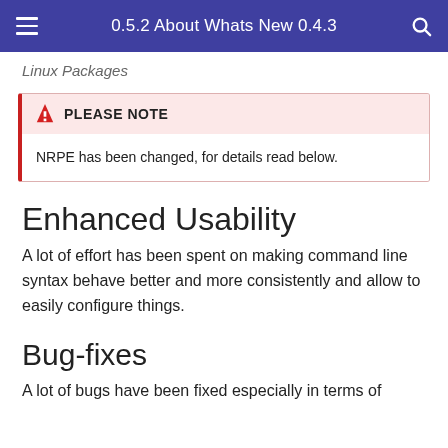0.5.2 About Whats New 0.4.3
Linux Packages
PLEASE NOTE
NRPE has been changed, for details read below.
Enhanced Usability
A lot of effort has been spent on making command line syntax behave better and more consistently and allow to easily configure things.
Bug-fixes
A lot of bugs have been fixed especially in terms of